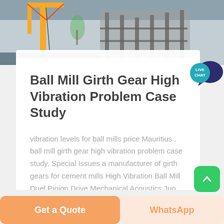[Figure (photo): Construction site with yellow crane and industrial machinery against a hazy sky]
Ball Mill Girth Gear High Vibration Problem Case Study
vibration levels for ball mills price Mauritius . ball mill girth gear high vibration problem case study. Special Issues a manufacturer of girth gears for cement mills High Vibration Ball Mill Duel Pinion Drive Mechanical Acoustics Jun 13
[Figure (other): Live Chat speech bubble badge icon]
Get a Quote
WhatsApp